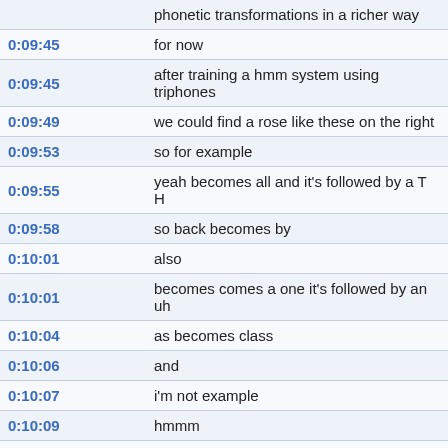| Timestamp | Transcript |
| --- | --- |
|  | phonetic transformations in a richer way |
| 0:09:45 | for now |
| 0:09:45 | after training a hmm system using triphones |
| 0:09:49 | we could find a rose like these on the right |
| 0:09:53 | so for example |
| 0:09:55 | yeah becomes all and it's followed by a T H |
| 0:09:58 | so back becomes by |
| 0:10:01 | also |
| 0:10:01 | becomes comes a one it's followed by an uh |
| 0:10:04 | as becomes class |
| 0:10:06 | and |
| 0:10:07 | i'm not example |
| 0:10:09 | hmmm |
| 0:10:11 | i still laugh becomes small |
| 0:10:14 | the question here or one as it is |
| 0:10:17 | the is observed rules |
| 0:10:19 | um |
| 0:10:19 | actually originating from a more general underlying rule |
| 0:10:24 | and if it it is how can we find that |